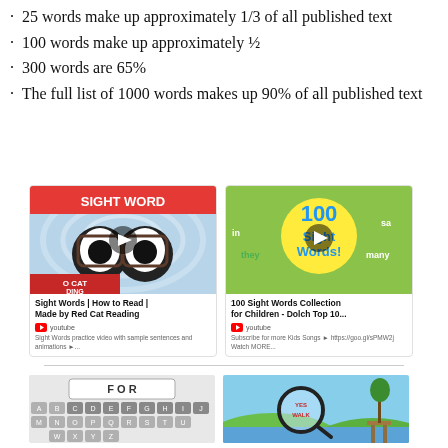25 words make up approximately 1/3 of all published text
100 words make up approximately ½
300 words are 65%
The full list of 1000 words makes up 90% of all published text
[Figure (screenshot): YouTube video thumbnail: Sight Words | How to Read | Made by Red Cat Reading. Cartoon character with glasses reading.]
[Figure (screenshot): YouTube video thumbnail: 100 Sight Words Collection for Children - Dolch Top 10... Green background with 100 Sight Words text.]
[Figure (screenshot): Word spelling game with keyboard showing letters A-Z, WH, CH, SH, TH, CK, and input field showing FOR.]
[Figure (screenshot): Animated scene with magnifying glass and words, outdoor landscape with dock.]